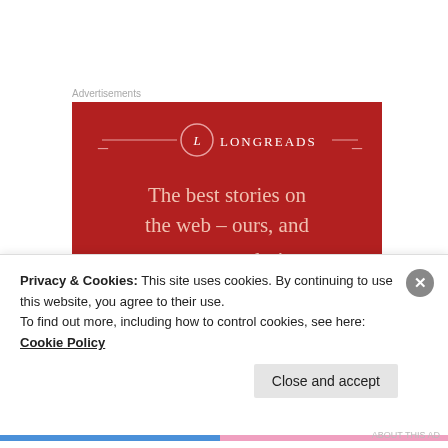Advertisements
[Figure (screenshot): Longreads advertisement banner on red background with logo, bracket lines, and text: The best stories on the web – ours, and everyone else's]
KAMALIKA DEY
17 Apr 2019 at 3:07 pm
Privacy & Cookies: This site uses cookies. By continuing to use this website, you agree to their use.
To find out more, including how to control cookies, see here: Cookie Policy
Close and accept